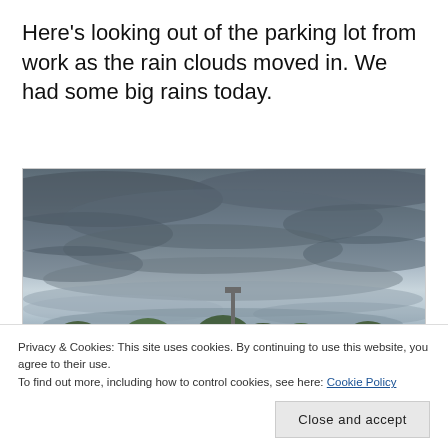Here's looking out of the parking lot from work as the rain clouds moved in. We had some big rains today.
[Figure (photo): Photograph of a parking lot sky with dark rain clouds moving in, a treeline visible at the bottom of the sky, and a lamp post. The bottom shows a parking lot surface with white parking space markings.]
Privacy & Cookies: This site uses cookies. By continuing to use this website, you agree to their use.
To find out more, including how to control cookies, see here: Cookie Policy
Close and accept